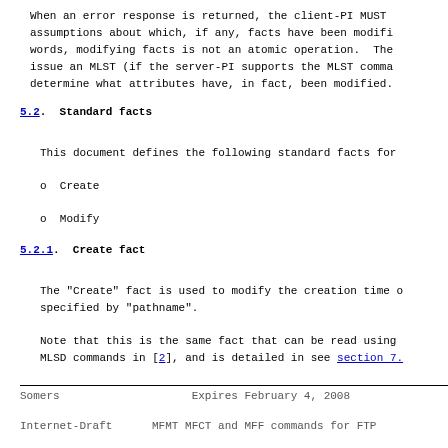When an error response is returned, the client-PI MUST assumptions about which, if any, facts have been modifi words, modifying facts is not an atomic operation. The issue an MLST (if the server-PI supports the MLST comma determine what attributes have, in fact, been modified.
5.2.  Standard facts
This document defines the following standard facts for
o  Create
o  Modify
5.2.1.  Create fact
The "Create" fact is used to modify the creation time o specified by "pathname".
Note that this is the same fact that can be read using MLSD commands in [2], and is detailed in see section 7.
Somers                    Expires February 4, 2008
Internet-Draft      MFMT MFCT and MFF commands for FTP